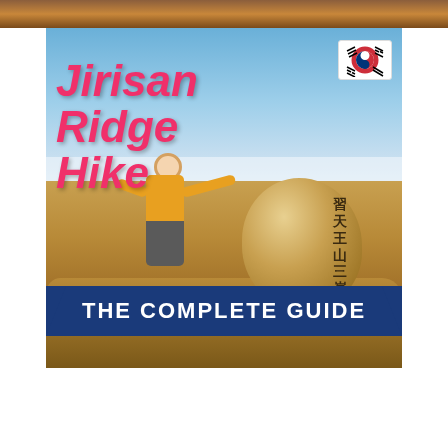[Figure (photo): A person in a yellow jacket stands next to a large boulder with Chinese characters carved on it at the summit of Jirisan, South Korea. The sky is blue and hazy clouds are visible below the summit. Text overlaid reads 'Jirisan Ridge Hike THE COMPLETE GUIDE' with a South Korean flag icon in the top right corner of the image.]